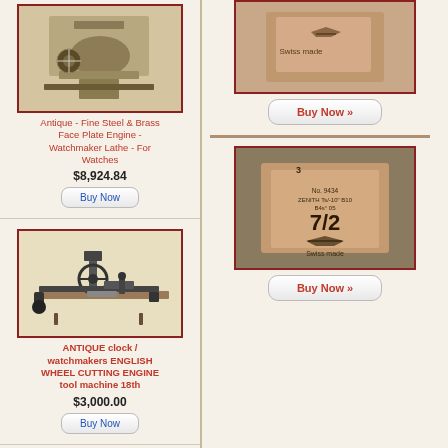[Figure (photo): Antique steel and brass face plate engine watchmaker lathe]
Antique - Fine Steel & Brass Face Plate Engine - Watchmaker Lathe - For Watches
$8,924.84
Buy Now
[Figure (photo): Antique clock/watchmakers English wheel cutting engine tool machine 18th century]
ANTIQUE clock / watchmakers ENGLISH WHEEL CUTTING ENGINE tool machine 18th
$3,000.00
Buy Now
[Figure (photo): Partial view of watchmaker tool]
[Figure (photo): Swiss made watch part tag with label showing No. 9434 Zenith]
Buy Now »
[Figure (photo): Swiss made watch part tag with label showing No. 9434 Zenith 712]
Buy Now »